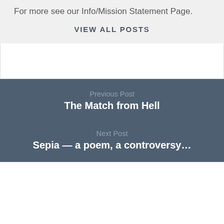For more see our Info/Mission Statement Page.
VIEW ALL POSTS
Previous Post
The Match from Hell
Next Post
Sepia — a poem, a controversy…